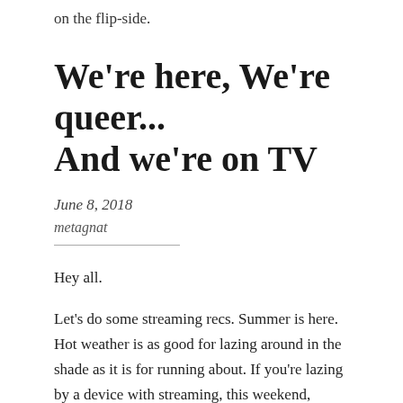on the flip-side.
We're here, We're queer... And we're on TV
June 8, 2018
metagnat
Hey all.
Let's do some streaming recs. Summer is here. Hot weather is as good for lazing around in the shade as it is for running about. If you're lazing by a device with streaming, this weekend, consider some of these LGBT options: